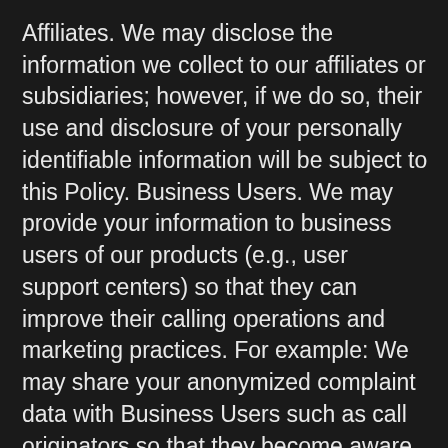Affiliates. We may disclose the information we collect to our affiliates or subsidiaries; however, if we do so, their use and disclosure of your personally identifiable information will be subject to this Policy. Business Users. We may provide your information to business users of our products (e.g., user support centers) so that they can improve their calling operations and marketing practices. For example: We may share your anonymized complaint data with Business Users such as call originators so that they become aware of the nuisance they are causing. User of the Apps and Our Other Products. Because your information may be used for validation of information in our database, we may disclose your information to users of the Apps and of other products and services that rely on our database of information. For example: If you provide us with your name and you call another of our users, then we may show your name to the